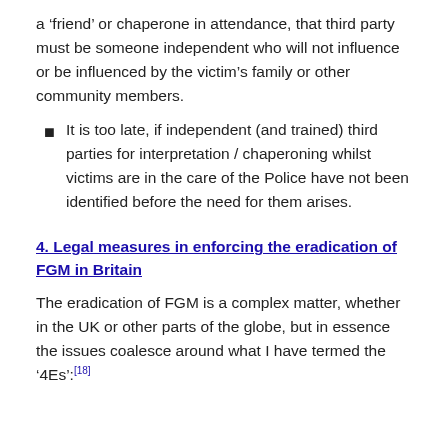a 'friend' or chaperone in attendance, that third party must be someone independent who will not influence or be influenced by the victim's family or other community members.
It is too late, if independent (and trained) third parties for interpretation / chaperoning whilst victims are in the care of the Police have not been identified before the need for them arises.
4. Legal measures in enforcing the eradication of FGM in Britain
The eradication of FGM is a complex matter, whether in the UK or other parts of the globe, but in essence the issues coalesce around what I have termed the '4Es':[18]